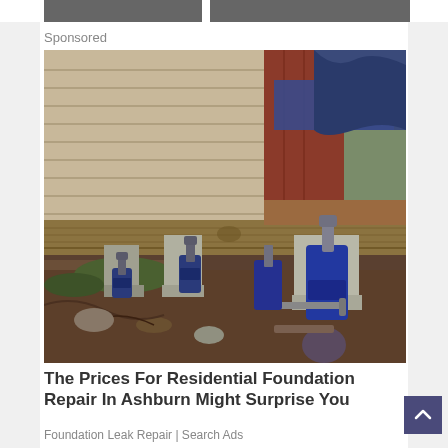[Figure (photo): Partial top strip of two photos visible at the very top of the page]
Sponsored
[Figure (photo): A house foundation being lifted with multiple blue hydraulic bottle jacks placed on concrete piers beneath wooden floor beams, exterior siding visible above, dirt ground below.]
The Prices For Residential Foundation Repair In Ashburn Might Surprise You
Foundation Leak Repair | Search Ads